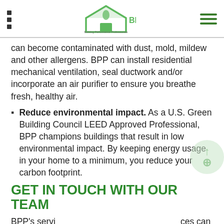BPP – Building Performance Professionals
can become contaminated with dust, mold, mildew and other allergens. BPP can install residential mechanical ventilation, seal ductwork and/or incorporate an air purifier to ensure you breathe fresh, healthy air.
Reduce environmental impact. As a U.S. Green Building Council LEED Approved Professional, BPP champions buildings that result in low environmental impact. By keeping energy usage in your home to a minimum, you reduce your carbon footprint.
GET IN TOUCH WITH OUR TEAM
BPP's services can go a long way toward making your Oakland h… can also
REQUEST A QUOTE